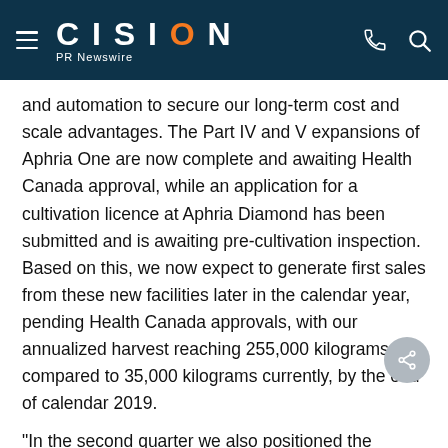CISION PR Newswire
and automation to secure our long-term cost and scale advantages. The Part IV and V expansions of Aphria One are now complete and awaiting Health Canada approval, while an application for a cultivation licence at Aphria Diamond has been submitted and is awaiting pre-cultivation inspection. Based on this, we now expect to generate first sales from these new facilities later in the calendar year, pending Health Canada approvals, with our annualized harvest reaching 255,000 kilograms, compared to 35,000 kilograms currently, by the end of calendar 2019.
"In the second quarter we also positioned the